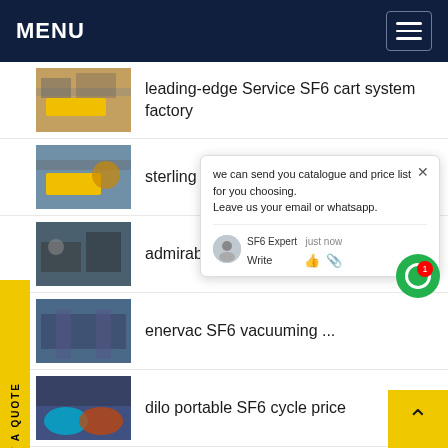MENU
leading-edge Service SF6 cart system factory
sterling Wuhan huayi SF6 ... ual
admirable Fornecedor S... prices
enervac SF6 vacuuming ...
dilo portable SF6 cycle price
exemplary AN 193 LISE DE QUALIDAD G 193 S SF6 equipments factory
[Figure (screenshot): Chat popup overlay showing message: 'we can send you catalogue and price list for you choosing. Leave us your email or whatsapp.' with SF6 Expert agent label and 'just now' timestamp, Write field with icons.]
REQUEST A QUOTE